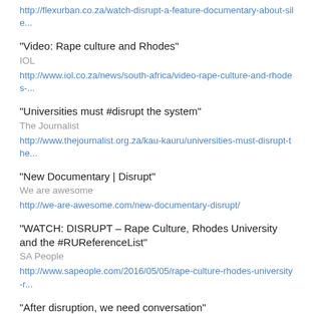http://flexurban.co.za/watch-disrupt-a-feature-documentary-about-sile...
"Video: Rape culture and Rhodes"
IOL
http://www.iol.co.za/news/south-africa/video-rape-culture-and-rhodes-...
"Universities must #disrupt the system"
The Journalist
http://www.thejournalist.org.za/kau-kauru/universities-must-disrupt-the...
"New Documentary | Disrupt"
We are awesome
http://we-are-awesome.com/new-documentary-disrupt/
"WATCH: DISRUPT – Rape Culture, Rhodes University and the #RUReferenceList"
SA People
http://www.sapeople.com/2016/05/05/rape-culture-rhodes-university-r...
"After disruption, we need conversation"
So Me dia...